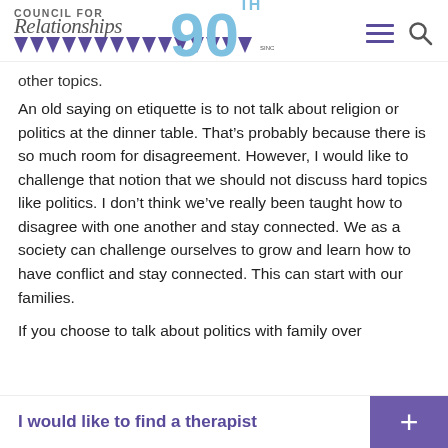Council for Relationships 90th Anniversary Since 1932
other topics.
An old saying on etiquette is to not talk about religion or politics at the dinner table. That’s probably because there is so much room for disagreement. However, I would like to challenge that notion that we should not discuss hard topics like politics. I don’t think we’ve really been taught how to disagree with one another and stay connected. We as a society can challenge ourselves to grow and learn how to have conflict and stay connected. This can start with our families.
If you choose to talk about politics with family over
I would like to find a therapist